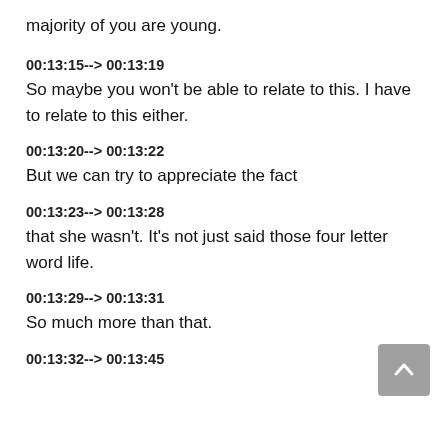majority of you are young.
00:13:15--> 00:13:19
So maybe you won't be able to relate to this. I have to relate to this either.
00:13:20--> 00:13:22
But we can try to appreciate the fact
00:13:23--> 00:13:28
that she wasn't. It's not just said those four letter word life.
00:13:29--> 00:13:31
So much more than that.
00:13:32--> 00:13:45